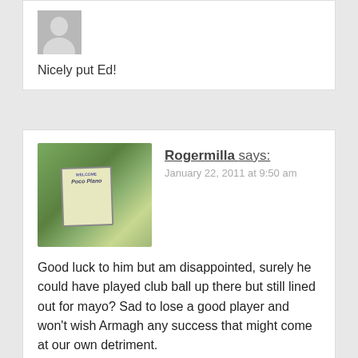Nicely put Ed!
Rogermilla says:
January 22, 2011 at 9:50 am
Good luck to him but am disappointed, surely he could have played club ball up there but still lined out for mayo? Sad to lose a good player and won't wish Armagh any success that might come at our own detriment.

Grumpy today , I know 🙂
brighton811 says:
January 23, 2011 at 2:44 pm
Good luck to him.A hard trier but never good enough for top